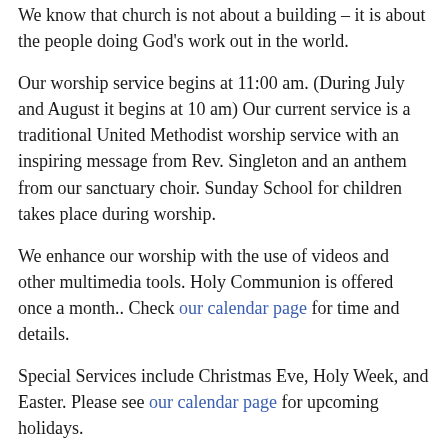We know that church is not about a building – it is about the people doing God's work out in the world.
Our worship service begins at 11:00 am. (During July and August it begins at 10 am) Our current service is a traditional United Methodist worship service with an inspiring message from Rev. Singleton and an anthem from our sanctuary choir. Sunday School for children takes place during worship.
We enhance our worship with the use of videos and other multimedia tools. Holy Communion is offered once a month.. Check our calendar page for time and details.
Special Services include Christmas Eve, Holy Week, and Easter. Please see our calendar page for upcoming holidays.
Cherrydale loves children and youth! We encourage